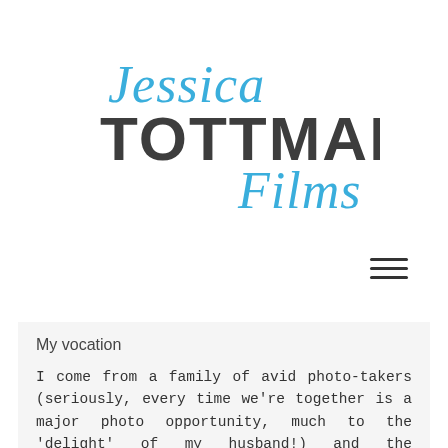[Figure (logo): Jessica Tottman Films logo: 'Jessica' in blue cursive script, 'TOTTMAN' in large dark gray sans-serif capitals, 'Films' in blue cursive script]
[Figure (other): Hamburger menu icon with three horizontal lines]
My vocation
I come from a family of avid photo-takers (seriously, every time we're together is a major photo opportunity, much to the 'delight' of my husband!) and the importance of capturing memories to